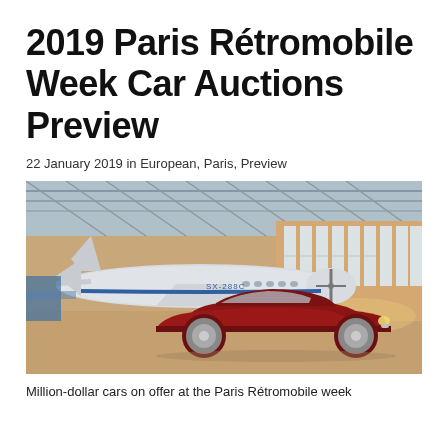2019 Paris Rétromobile Week Car Auctions Preview
22 January 2019 in European, Paris, Preview
[Figure (photo): A classic dark red vintage car parked inside a large hangar with high ceilings and large windows, with a vintage propeller airplane in the background.]
Million-dollar cars on offer at the Paris Rétromobile week